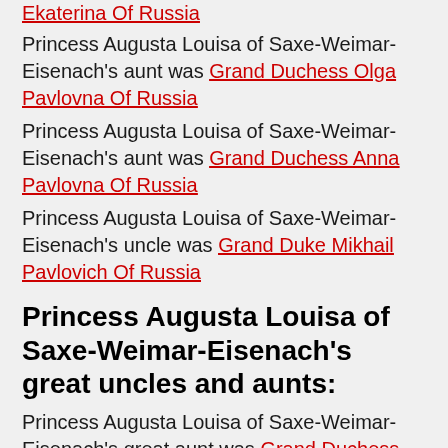Ekaterina Of Russia
Princess Augusta Louisa of Saxe-Weimar-Eisenach's aunt was Grand Duchess Olga Pavlovna Of Russia
Princess Augusta Louisa of Saxe-Weimar-Eisenach's aunt was Grand Duchess Anna Pavlovna Of Russia
Princess Augusta Louisa of Saxe-Weimar-Eisenach's uncle was Grand Duke Mikhail Pavlovich Of Russia
Princess Augusta Louisa of Saxe-Weimar-Eisenach's great uncles and aunts:
Princess Augusta Louisa of Saxe-Weimar-Eisenach's great aunt was Grand Duchess